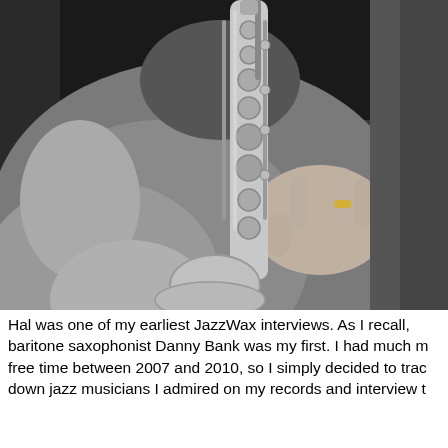[Figure (photo): Black and white close-up photograph of a person playing a saxophone, showing hands gripping the instrument with keys visible, and the player's torso in a collared shirt in the background.]
Hal was one of my earliest JazzWax interviews. As I recall, baritone saxophonist Danny Bank was my first. I had much m free time between 2007 and 2010, so I simply decided to trac down jazz musicians I admired on my records and interview t